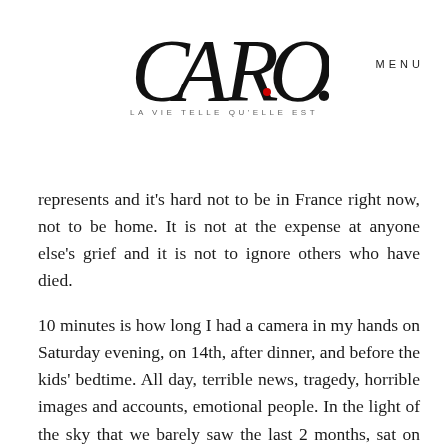[Figure (logo): CARO logo with stylized serif lettering and red dot, subtitle 'LA VIE TELLE QU'ELLE EST']
MENU
represents and it's hard not to be in France right now, not to be home. It is not at the expense at anyone else's grief and it is not to ignore others who have died.
10 minutes is how long I had a camera in my hands on Saturday evening, on 14th, after dinner, and before the kids' bedtime. All day, terrible news, tragedy, horrible images and accounts, emotional people. In the light of the sky that we barely saw the last 2 months, sat on the floor, I picked up my camera. I picked it up because, although it felt like it stood still for a few hours, life was happening right